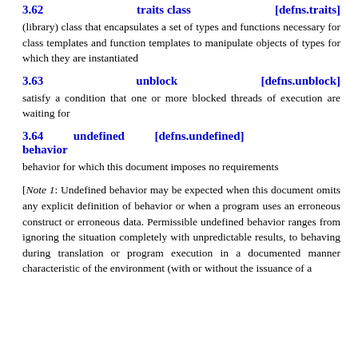3.62   traits class   [defns.traits]
(library) class that encapsulates a set of types and functions necessary for class templates and function templates to manipulate objects of types for which they are instantiated
3.63   unblock   [defns.unblock]
satisfy a condition that one or more blocked threads of execution are waiting for
3.64   undefined behavior   [defns.undefined]
behavior for which this document imposes no requirements
[Note 1: Undefined behavior may be expected when this document omits any explicit definition of behavior or when a program uses an erroneous construct or erroneous data. Permissible undefined behavior ranges from ignoring the situation completely with unpredictable results, to behaving during translation or program execution in a documented manner characteristic of the environment (with or without the issuance of a